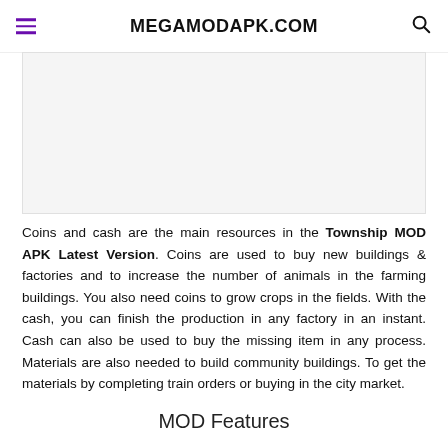MEGAMODAPK.COM
[Figure (other): Advertisement banner area (blank/gray rectangle)]
Coins and cash are the main resources in the Township MOD APK Latest Version. Coins are used to buy new buildings & factories and to increase the number of animals in the farming buildings. You also need coins to grow crops in the fields. With the cash, you can finish the production in any factory in an instant. Cash can also be used to buy the missing item in any process. Materials are also needed to build community buildings. To get the materials by completing train orders or buying in the city market.
MOD Features